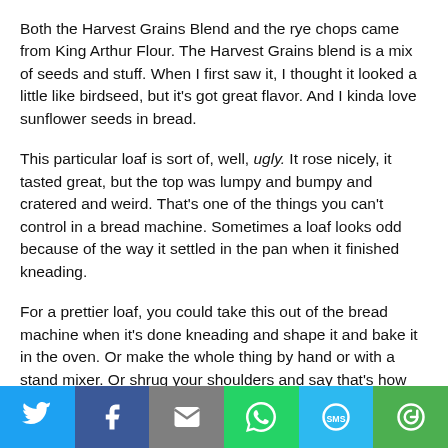Both the Harvest Grains Blend and the rye chops came from King Arthur Flour. The Harvest Grains blend is a mix of seeds and stuff. When I first saw it, I thought it looked a little like birdseed, but it's got great flavor. And I kinda love sunflower seeds in bread.
This particular loaf is sort of, well, ugly. It rose nicely, it tasted great, but the top was lumpy and bumpy and cratered and weird. That's one of the things you can't control in a bread machine. Sometimes a loaf looks odd because of the way it settled in the pan when it finished kneading.
For a prettier loaf, you could take this out of the bread machine when it's done kneading and shape it and bake it in the oven. Or make the whole thing by hand or with a stand mixer. Or shrug your shoulders and say that's how it's supposed to look.
Me, I'm eating my ugly-but-tasty bread and baking like crazy
[Figure (infographic): Social share bar with six buttons: Twitter (blue bird icon), Facebook (dark blue f icon), Email (grey envelope icon), WhatsApp (green phone icon), SMS (blue SMS icon), More (green circular arrows icon)]